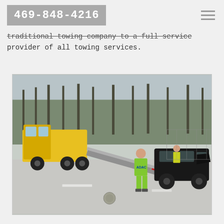469-848-4216
traditional towing company to a full service provider of all towing services.
[Figure (photo): A yellow ADAC flatbed tow truck with its ramp lowered, and a worker in a yellow ADAC vest preparing to load a damaged black car onto the truck. The scene is on a road with bare trees in the background.]